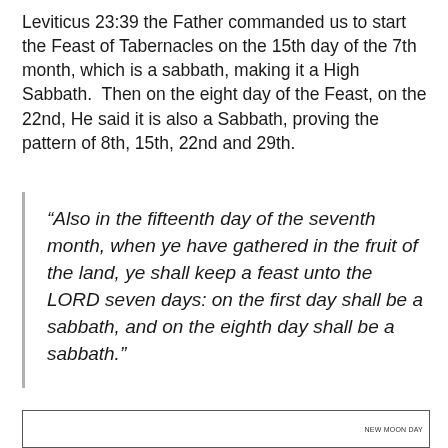Leviticus 23:39 the Father commanded us to start the Feast of Tabernacles on the 15th day of the 7th month, which is a sabbath, making it a High Sabbath.  Then on the eight day of the Feast, on the 22nd, He said it is also a Sabbath, proving the pattern of 8th, 15th, 22nd and 29th.
“Also in the fifteenth day of the seventh month, when ye have gathered in the fruit of the land, ye shall keep a feast unto the LORD seven days: on the first day shall be a sabbath, and on the eighth day shall be a sabbath.”
NEW MOON DAY